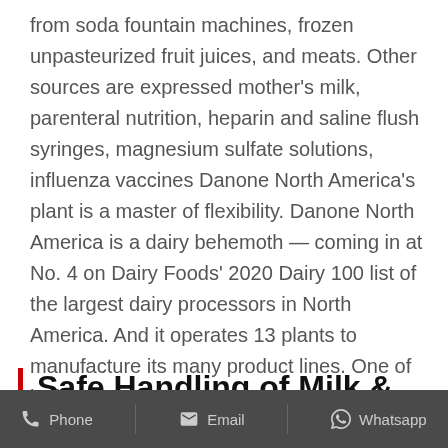from soda fountain machines, frozen unpasteurized fruit juices, and meats. Other sources are expressed mother's milk, parenteral nutrition, heparin and saline flush syringes, magnesium sulfate solutions, influenza vaccines Danone North America's plant is a master of flexibility. Danone North America is a dairy behemoth — coming in at No. 4 on Dairy Foods' 2020 Dairy 100 list of the largest dairy processors in North America. And it operates 13 plants to manufacture its many product lines. One of its largest — a 440,000-square-foot facility located in
Safe Handling of Milk & Dairy Products | Home & Garden
Phone   Email   Whatsapp